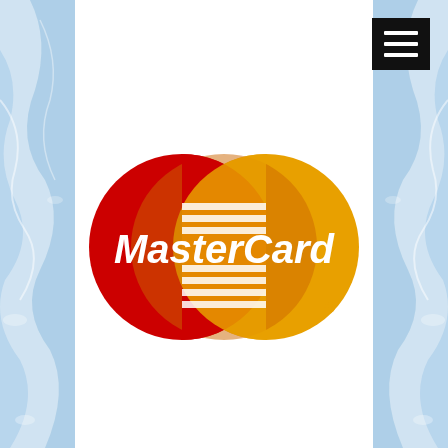[Figure (logo): MasterCard logo with two overlapping circles (red on left, gold/yellow on right) and 'MasterCard.' text in white italic bold font across the overlap area, with horizontal stripe pattern in the overlap. Set against white background with blue water splash imagery on left and right sides.]
[Figure (other): Navigation hamburger menu button (three horizontal white lines on black square background) in the top right corner.]